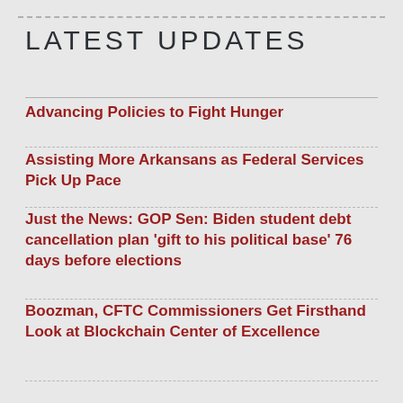LATEST UPDATES
Advancing Policies to Fight Hunger
Assisting More Arkansans as Federal Services Pick Up Pace
Just the News: GOP Sen: Biden student debt cancellation plan 'gift to his political base' 76 days before elections
Boozman, CFTC Commissioners Get Firsthand Look at Blockchain Center of Excellence